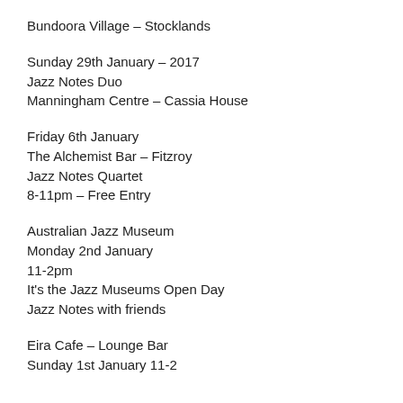Bundoora Village – Stocklands
Sunday 29th January – 2017
Jazz Notes Duo
Manningham Centre – Cassia House
Friday 6th January
The Alchemist Bar – Fitzroy
Jazz Notes Quartet
8-11pm – Free Entry
Australian Jazz Museum
Monday 2nd January
11-2pm
It's the Jazz Museums Open Day
Jazz Notes with friends
Eira Cafe – Lounge Bar
Sunday 1st January 11-2